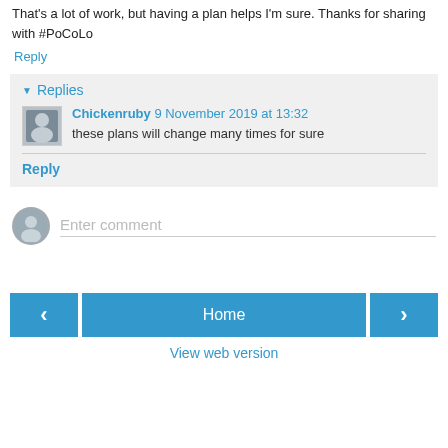That's a lot of work, but having a plan helps I'm sure. Thanks for sharing with #PoCoLo
Reply
Replies
Chickenruby 9 November 2019 at 13:32
these plans will change many times for sure
Reply
Enter comment
< Home >
View web version